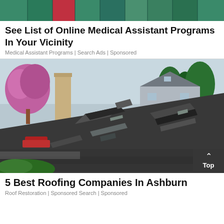[Figure (photo): Cropped top portion of a group of people in colorful scrubs/uniforms]
See List of Online Medical Assistant Programs In Your Vicinity
Medical Assistant Programs | Search Ads | Sponsored
[Figure (photo): Damaged roof with broken and peeling shingles, a chimney on the left, trees and a house in the background]
5 Best Roofing Companies In Ashburn
Roof Restoration | Sponsored Search | Sponsored